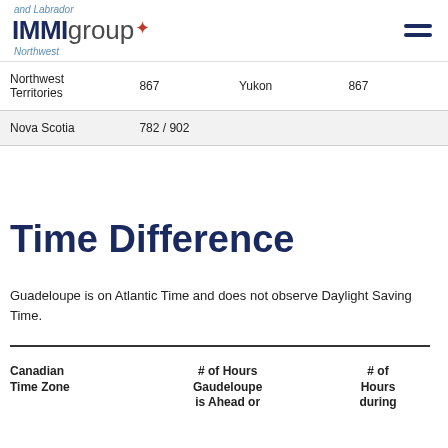IMMIgroup
|  |  | Yukon | 867 |
| --- | --- | --- | --- |
| Northwest Territories | 867 | Yukon | 867 |
| Nova Scotia | 782 / 902 |  |  |
Time Difference
Guadeloupe is on Atlantic Time and does not observe Daylight Saving Time.
| Canadian Time Zone | # of Hours Gaudeloupe is Ahead or | # of Hours during |
| --- | --- | --- |